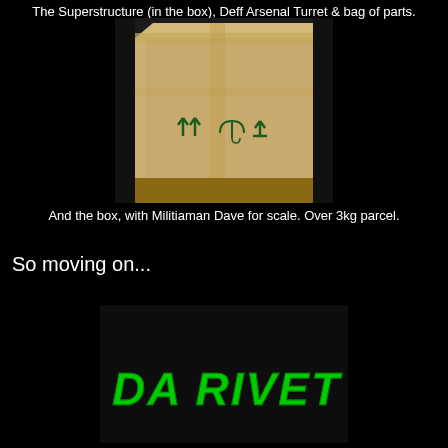The Superstructure (in the box), Deff Arsenal Turret & bag of parts.
[Figure (photo): A large cardboard box heavily taped, with shipping symbols (up arrows and umbrella symbols) printed on the front, sitting on a wooden pallet in what appears to be a warehouse.]
And the box, with Militiaman Dave for scale. Over 3kg parcel.
So moving on...
[Figure (photo): Partial view of text reading 'DA RIVET OFF' in green graffiti-style lettering on a dark background.]